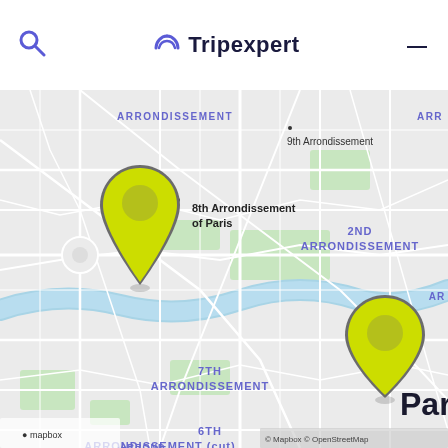Tripexpert
[Figure (map): Mapbox/OpenStreetMap map of central Paris showing arrondissements. Two yellow location pins are visible: one over the 8th Arrondissement of Paris (upper left area), and one over Paris label (lower right area). Map labels include ARRONDISSEMENT, 9th Arrondissement, ARR, 2ND ARRONDISSEMENT, 7TH ARRONDISSEMENT, 6TH ARRONDISSEMENT, and Pari (truncated). Attribution: © Mapbox © OpenStreetMap.]